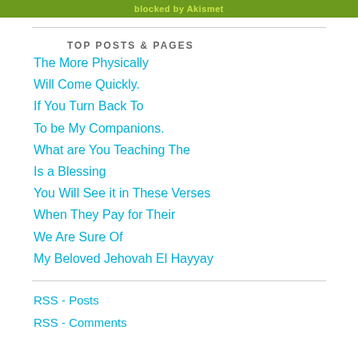blocked by Akismet
TOP POSTS & PAGES
The More Physically
Will Come Quickly.
If You Turn Back To
To be My Companions.
What are You Teaching The
Is a Blessing
You Will See it in These Verses
When They Pay for Their
We Are Sure Of
My Beloved Jehovah El Hayyay
RSS - Posts
RSS - Comments